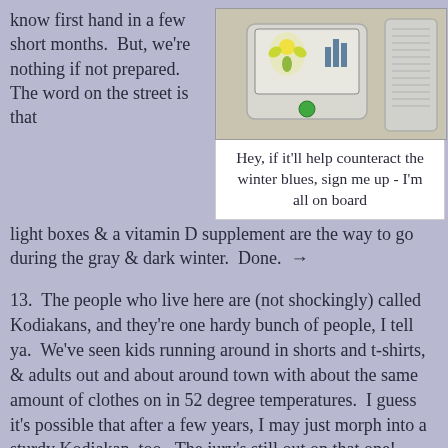know first hand in a few short months.  But, we're nothing if not prepared.  The word on the street is that light boxes & a vitamin D supplement are the way to go during the gray & dark winter.  Done.  →
[Figure (photo): Photo of a light therapy box/lamp device on a table, with a white air purifier visible to the right, on a light-colored surface.]
Hey, if it'll help counteract the winter blues, sign me up - I'm all on board
13.  The people who live here are (not shockingly) called Kodiakans, and they're one hardy bunch of people, I tell ya.  We've seen kids running around in shorts and t-shirts, & adults out and about around town with about the same amount of clothes on in 52 degree temperatures.  I guess it's possible that after a few years, I may just morph into a sturdy Kodiakan, too.  The jury's still out on that one!